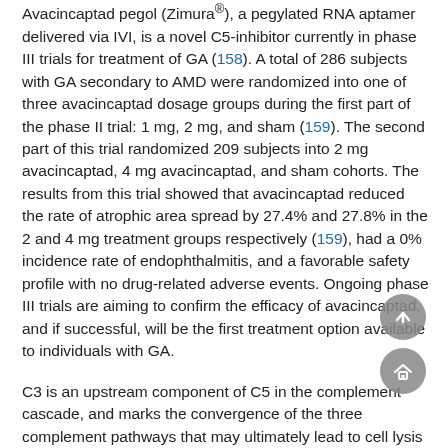Avacincaptad pegol (Zimura®), a pegylated RNA aptamer delivered via IVI, is a novel C5-inhibitor currently in phase III trials for treatment of GA (158). A total of 286 subjects with GA secondary to AMD were randomized into one of three avacincaptad dosage groups during the first part of the phase II trial: 1 mg, 2 mg, and sham (159). The second part of this trial randomized 209 subjects into 2 mg avacincaptad, 4 mg avacincaptad, and sham cohorts. The results from this trial showed that avacincaptad reduced the rate of atrophic area spread by 27.4% and 27.8% in the 2 and 4 mg treatment groups respectively (159), had a 0% incidence rate of endophthalmitis, and a favorable safety profile with no drug-related adverse events. Ongoing phase III trials are aiming to confirm the efficacy of avacincaptad, and if successful, will be the first treatment option available to individuals with GA.
C3 is an upstream component of C5 in the complement cascade, and marks the convergence of the three complement pathways that may ultimately lead to cell lysis and inflammation (160). C3